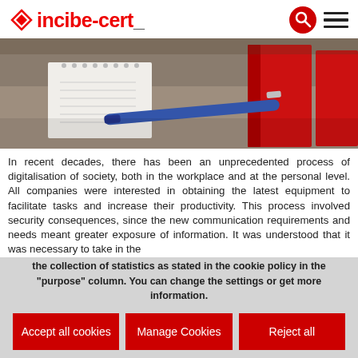incibe-cert_
[Figure (photo): Desk scene with notepad, blue pen, and red binders in background]
In recent decades, there has been an unprecedented process of digitalisation of society, both in the workplace and at the personal level. All companies were interested in obtaining the latest equipment to facilitate tasks and increase their productivity. This process involved security consequences, since the new communication requirements and needs meant greater exposure of information. It was understood that it was necessary to take in the
This website uses its own and third-party cookies for the correct functioning and visualization of the website by the user, as well as the collection of statistics as stated in the cookie policy in the "purpose" column. You can change the settings or get more information.
Accept all cookies
Manage Cookies
Reject all